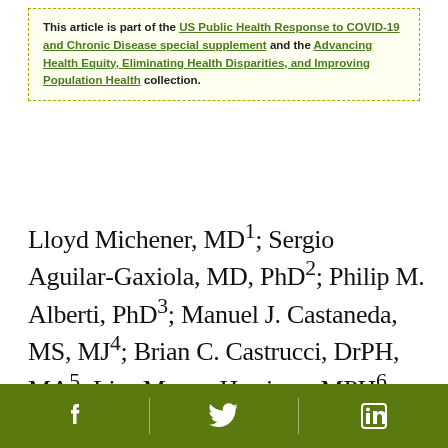This article is part of the US Public Health Response to COVID-19 and Chronic Disease special supplement and the Advancing Health Equity, Eliminating Health Disparities, and Improving Population Health collection.
Lloyd Michener, MD1; Sergio Aguilar-Gaxiola, MD, PhD2; Philip M. Alberti, PhD3; Manuel J. Castaneda, MS, MJ4; Brian C. Castrucci, DrPH, MA5; Lisa Macon Harrison, MPH6; Lauren S. Hughes, MD, MPH, MSc7; Al Richmond, MSW8; Nina Wallerstein, DrPH, MPH9 (View author affiliations)
[Figure (other): Footer bar with Facebook, Twitter, and LinkedIn social media icons on olive green background]